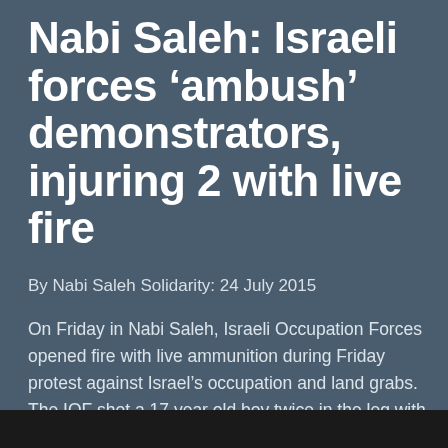Nabi Saleh: Israeli forces ‘ambush’ demonstrators, injuring 2 with live fire
By Nabi Saleh Solidarity: 24 July 2015
On Friday in Nabi Saleh, Israeli Occupation Forces opened fire with live ammunition during Friday protest against Israel’s occupation and land grabs. The IOF shot a 17 year old boy twice in the leg with live ammunition and a 27 year old man in the thigh with live ammunition.
[Figure (photo): Dark image strip at bottom of page, partially visible photograph]